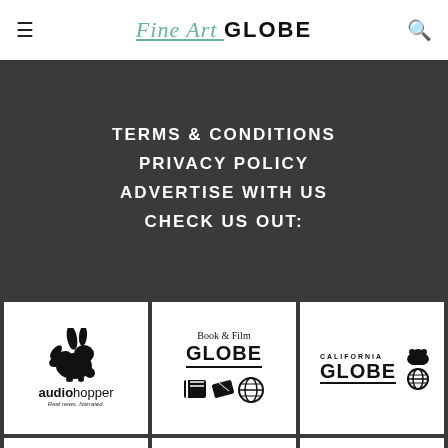Fine Art GLOBE
TERMS & CONDITIONS
PRIVACY POLICY
ADVERTISE WITH US
CHECK US OUT:
[Figure (logo): audiohopper logo — rabbit silhouette with wings, text 'audiohopper Real news. Narrated.']
[Figure (logo): Book & Film GLOBE logo — text with book, ticket, and globe icons]
[Figure (logo): CALIFORNIA GLOBE logo — text with bear and globe icons]